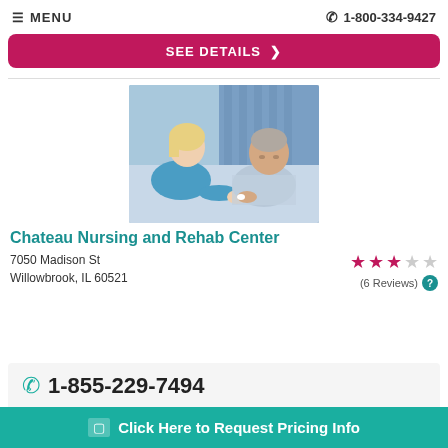≡ MENU    ☎ 1-800-334-9427
SEE DETAILS >
[Figure (photo): A nurse in blue scrubs attending to an elderly woman patient sitting up in bed]
Chateau Nursing and Rehab Center
7050 Madison St
Willowbrook, IL 60521
(6 Reviews)
1-855-229-7494
Click Here to Request Pricing Info